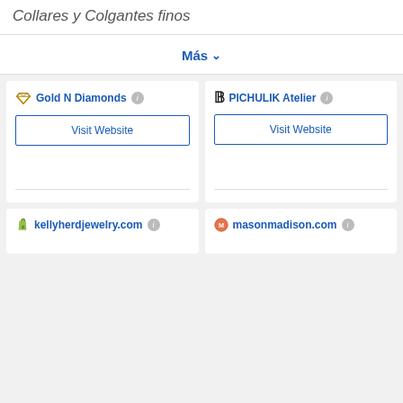Collares y Colgantes finos
Más
Gold N Diamonds
Visit Website
PICHULIK Atelier
Visit Website
kellyherdjewelry.com
masonmadison.com